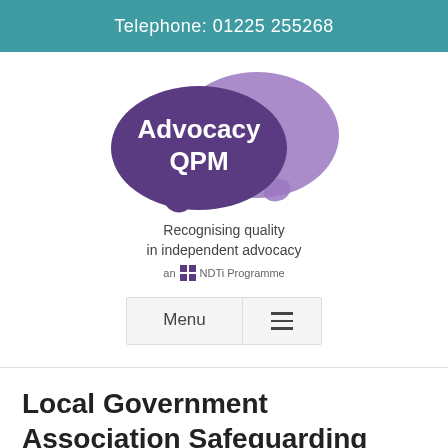Telephone: 01225 255268
[Figure (logo): Advocacy QPM logo — two overlapping speech bubbles in purple shades with white text reading 'Advocacy QPM', tagline 'Recognising quality in independent advocacy', 'an NDTi Programme']
Local Government Association Safeguarding webinars